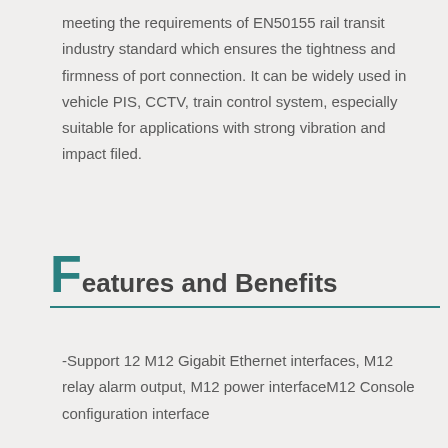meeting the requirements of EN50155 rail transit industry standard which ensures the tightness and firmness of port connection. It can be widely used in vehicle PIS, CCTV, train control system, especially suitable for applications with strong vibration and impact filed.
Features and Benefits
-Support 12 M12 Gigabit Ethernet interfaces, M12 relay alarm output, M12 power interfaceM12 Console configuration interface